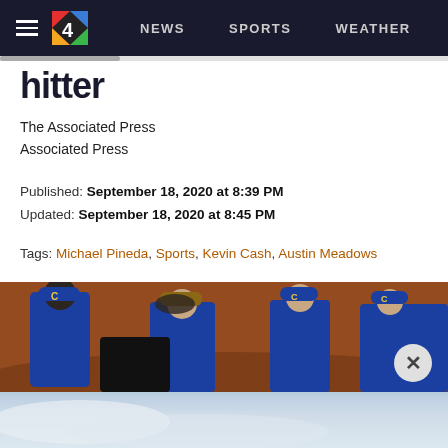≡  4  NEWS  SPORTS  WEATHER  FE...
hitter
The Associated Press
Associated Press
Published: September 18, 2020 at 8:39 PM
Updated: September 18, 2020 at 8:45 PM
Tags: Michael Pineda, Sports, Kevin Cash, Austin Meadows
[Figure (photo): Baseball players in blue Chicago Cubs uniforms celebrating together on a dirt field, one player patting another on the head]